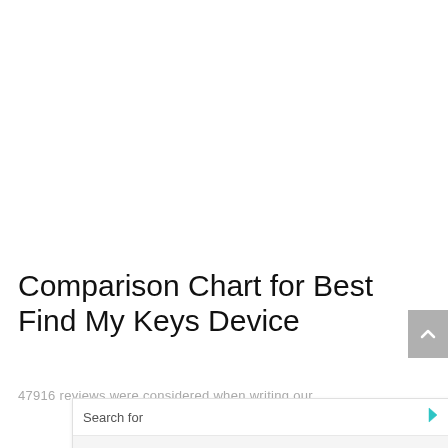Comparison Chart for Best Find My Keys Device
47916 reviews were considered when writing our...
[Figure (other): Advertisement overlay with search bar, two sponsored links (DIGITAL EMPLOYEE ENGAGEMENT PLATFORMS, DIGITAL EMPLOYEE ENGAGEMENTS), and Yahoo! Search Sponsored footer]
Yahoo! Search | Sponsored